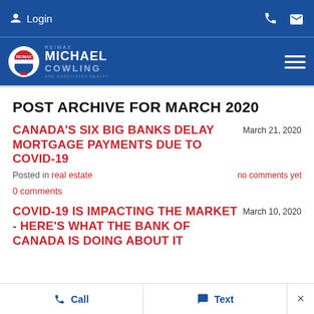Login
[Figure (logo): RE/MAX Michael Cowling and Associates Realty logo with hamburger menu]
POST ARCHIVE FOR MARCH 2020
CANADA'S SIX BIG BANKS DELAY MORTGAGE PAYMENTS DUE TO COVID-19
March 21, 2020
Posted in real estate    no comments yet
0 comments
COVID-19 IS IMPACTING THE MARKET - HERE'S WHAT THE BANK OF CANADA IS DOING ABOUT IT
March 10, 2020
Call   Text